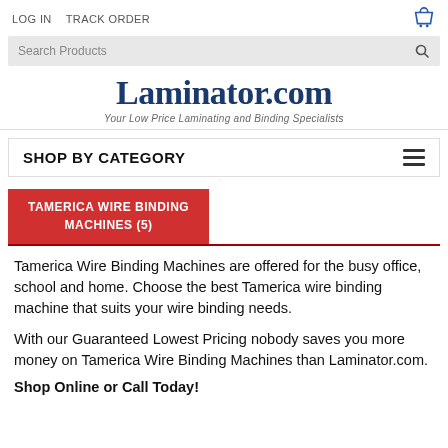LOG IN   TRACK ORDER
Search Products
Laminator.com
Your Low Price Laminating and Binding Specialists
SHOP BY CATEGORY
TAMERICA WIRE BINDING MACHINES (5)
Tamerica Wire Binding Machines are offered for the busy office, school and home. Choose the best Tamerica wire binding machine that suits your wire binding needs.
With our Guaranteed Lowest Pricing nobody saves you more money on Tamerica Wire Binding Machines than Laminator.com.
Shop Online or Call Today!